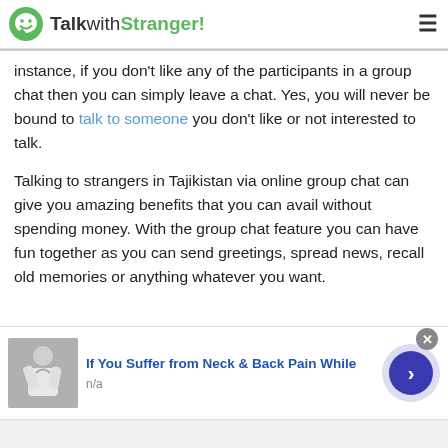TalkwithStranger!
instance, if you don't like any of the participants in a group chat then you can simply leave a chat. Yes, you will never be bound to talk to someone you don't like or not interested to talk.
Talking to strangers in Tajikistan via online group chat can give you amazing benefits that you can avail without spending money. With the group chat feature you can have fun together as you can send greetings, spread news, recall old memories or anything whatever you want.
[Figure (screenshot): Advertisement banner: image of person with neck pain, text 'If You Suffer from Neck & Back Pain While', subtext 'n/a', with a close button and a next/arrow button]